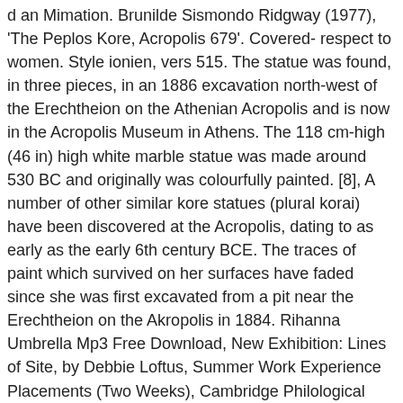d an Mimation. Brunilde Sismondo Ridgway (1977), 'The Peplos Kore, Acropolis 679'. Covered- respect to women. Style ionien, vers 515. The statue was found, in three pieces, in an 1886 excavation north-west of the Erechtheion on the Athenian Acropolis and is now in the Acropolis Museum in Athens. The 118 cm-high (46 in) high white marble statue was made around 530 BC and originally was colourfully painted. [8], A number of other similar kore statues (plural korai) have been discovered at the Acropolis, dating to as early as the early 6th century BCE. The traces of paint which survived on her surfaces have faded since she was first excavated from a pit near the Erechtheion on the Akropolis in 1884. Rihanna Umbrella Mp3 Free Download, New Exhibition: Lines of Site, by Debbie Loftus, Summer Work Experience Placements (Two Weeks), Cambridge Philological Society and CCJ Overview, Athens: Economy & Democracy Conference (in honour of P. Millett), CLANS (Cambridge Late Antique Network Seminar), reconstructs the Peplos Kore with a yellow dress, scientific analysis of the statues in its collection, University Map showing Faculty of Classics, You will be redirected to the University's website, Museum of Classical Archaeology Web Accessibility Statement, Robert M. Cook (1976),